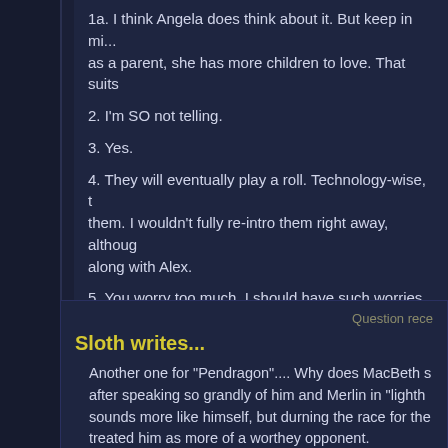1a. I think Angela does think about it. But keep in mind, as a parent, she has more children to love. That suits
2. I'm SO not telling.
3. Yes.
4. They will eventually play a roll. Technology-wise, them. I wouldn't fully re-intro them right away, although along with Alex.
5. You worry too much. I should have such worries.
Question rece
Sloth writes...
Another one for "Pendragon".... Why does MacBeth s after speaking so grandly of him and Merlin in "lighth sounds more like himself, but durning the race for the treated him as more of a worthey opponent.
Greg responds